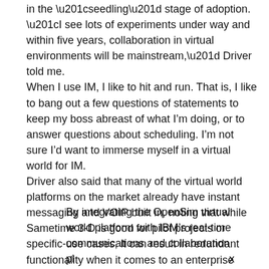in the “seedling” stage of adoption. “I see lots of experiments under way and within five years, collaboration in virtual environments will be mainstream,” Driver told me. When I use IM, I like to hit and run. That is, I like to bang out a few questions of statements to keep my boss abreast of what I’m doing, or to answer questions about scheduling. I’m not sure I’d want to immerse myself in a virtual world for IM. Driver also said that many of the virtual world platforms on the market already have instant messaging and VOIP built in, noting that while Sametime 3-D is good for pilot projects or specific-use cases, it can result in redundant functionality when it comes to an enterprise rollout. However, she added:
By integrating the OpenSim virtual world platform with IBM’s real-time communications and collaboration pla……m the im…